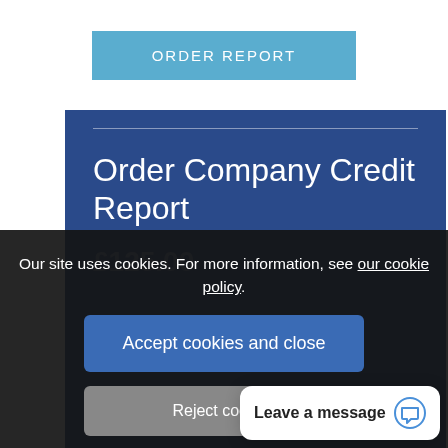ORDER REPORT
Order Company Credit Report
£125.00
Our site uses cookies. For more information, see our cookie policy.
Accept cookies and close
Reject cooki...
Leave a message